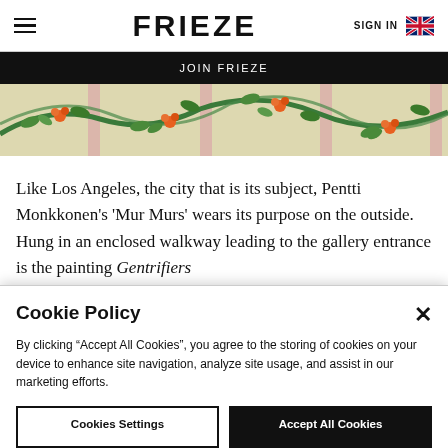FRIEZE  SIGN IN
JOIN FRIEZE
[Figure (illustration): Decorative botanical illustration strip showing green vines with orange flowers and berries on a cream background with pink vertical elements]
Like Los Angeles, the city that is its subject, Pentti Monkkonen’s ‘Mur Murs’ wears its purpose on the outside. Hung in an enclosed walkway leading to the gallery entrance is the painting Gentrifiers
Cookie Policy
By clicking “Accept All Cookies”, you agree to the storing of cookies on your device to enhance site navigation, analyze site usage, and assist in our marketing efforts.
Cookies Settings    Accept All Cookies